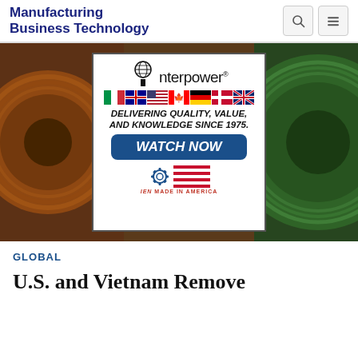Manufacturing Business Technology
[Figure (screenshot): Interpower advertisement: globe icon with 'i', interpower logo, country flags, text 'DELIVERING QUALITY, VALUE, AND KNOWLEDGE SINCE 1975.', 'WATCH NOW' button, Made in America logo]
[Figure (photo): Background photo of cable/wire spools — orange/brown on left, green on right]
GLOBAL
U.S. and Vietnam Remove